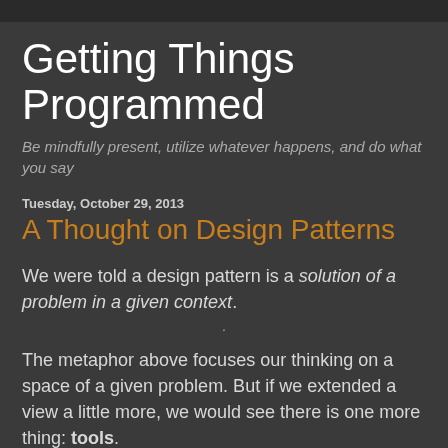Getting Things Programmed
Be mindfully present, utilize whatever happens, and do what you say
Tuesday, October 29, 2013
A Thought on Design Patterns
We were told a design pattern is a solution of a problem in a given context.
·
The metaphor above focuses our thinking on a space of a given problem. But if we extended a view a little more, we would see there is one more thing: tools.